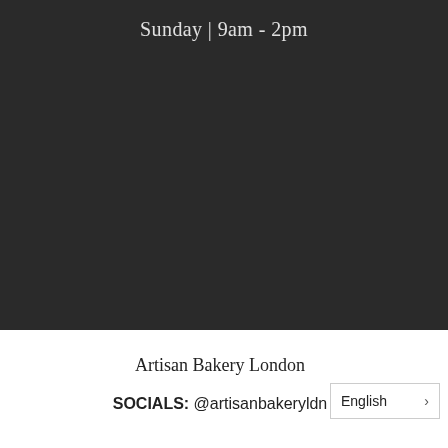Sunday | 9am - 2pm
[Figure (photo): Dark background image taking up the top two-thirds of the page]
Artisan Bakery London
SOCIALS: @artisanbakeryldn
English >